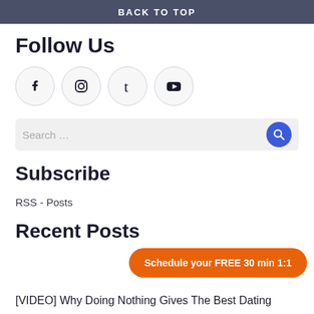BACK TO TOP
Follow Us
[Figure (infographic): Four social media icon circles: Facebook, Instagram, Tumblr, YouTube]
Search ...
Subscribe
RSS - Posts
Recent Posts
Schedule your FREE 30 min 1:1
[VIDEO] Why Doing Nothing Gives The Best Dating